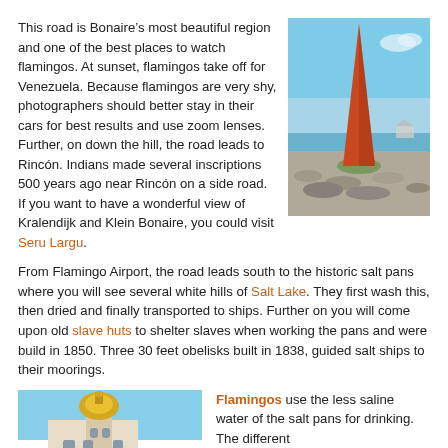This road is Bonaire's most beautiful region and one of the best places to watch flamingos. At sunset, flamingos take off for Venezuela. Because flamingos are very shy, photographers should better stay in their cars for best results and use zoom lenses. Further, on down the hill, the road leads to Rincón. Indians made several inscriptions 500 years ago near Rincón on a side road. If you want to have a wonderful view of Kralendijk and Klein Bonaire, you could visit Seru Largu.
[Figure (photo): A tall orange/red obelisk standing on a rocky shoreline with sea and sky in the background]
From Flamingo Airport, the road leads south to the historic salt pans where you will see several white hills of Salt Lake. They first wash this, then dried and finally transported to ships. Further on you will come upon old slave huts to shelter slaves when working the pans and were build in 1850. Three 30 feet obelisks built in 1838, guided salt ships to their moorings.
[Figure (photo): A building with a golden dome and tower, likely a church or historic structure]
Flamingos use the less saline water of the salt pans for drinking. The different